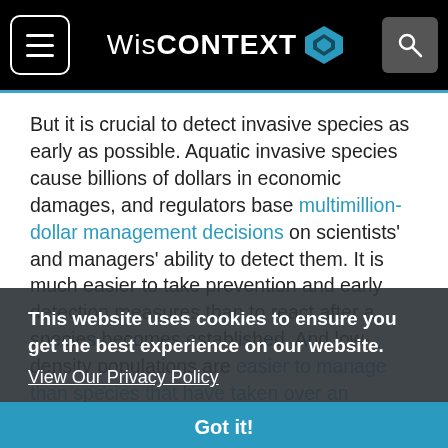WisCONTEXT
But it is crucial to detect invasive species as early as possible. Aquatic invasive species cause billions of dollars in economic damages, and regulators base multimillion-dollar management decisions on scientists' and managers' ability to detect them. It is much easier to take prevention and early detection measures than to react after a species becomes established. And low-density populations are easier to manage than species that have taken over an ecosystem.
This website uses cookies to ensure you get the best experience on our website.
View Our Privacy Policy
Got it!